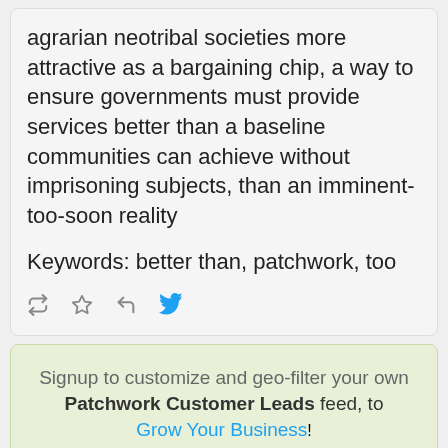agrarian neotribal societies more attractive as a bargaining chip, a way to ensure governments must provide services better than a baseline communities can achieve without imprisoning subjects, than an imminent-too-soon reality
Keywords: better than, patchwork, too
Signup to customize and geo-filter your own Patchwork Customer Leads feed, to Grow Your Business!
Adonis Storr  11:01 on 07/22/2022  @theadelites (5.8K followers) (12.7K tweets)